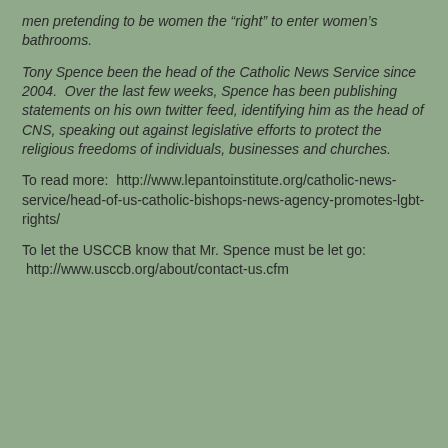men pretending to be women the “right” to enter women’s bathrooms.
Tony Spence been the head of the Catholic News Service since 2004.  Over the last few weeks, Spence has been publishing statements on his own twitter feed, identifying him as the head of CNS, speaking out against legislative efforts to protect the religious freedoms of individuals, businesses and churches.
To read more:  http://www.lepantoinstitute.org/catholic-news-service/head-of-us-catholic-bishops-news-agency-promotes-lgbt-rights/
To let the USCCB know that Mr. Spence must be let go:
 http://www.usccb.org/about/contact-us.cfm